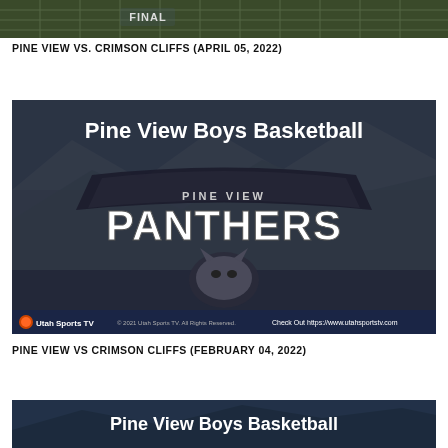[Figure (screenshot): Top portion of a volleyball court with 'FINAL' text overlay, dark netting visible]
PINE VIEW VS. CRIMSON CLIFFS (APRIL 05, 2022)
[Figure (screenshot): Pine View Boys Basketball thumbnail with Pine View Panthers logo on a desert landscape background, Utah Sports TV branding at bottom]
PINE VIEW VS CRIMSON CLIFFS (FEBRUARY 04, 2022)
[Figure (screenshot): Pine View Boys Basketball title card with dark blue background, beginning of another video thumbnail]